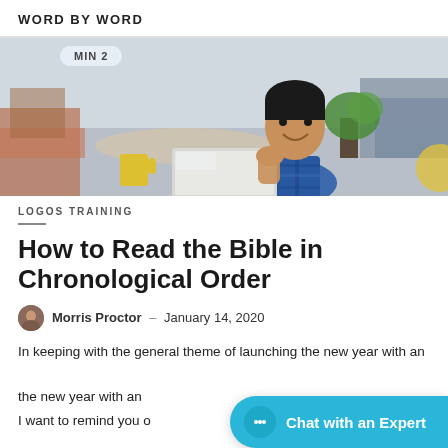WORD BY WORD
[Figure (photo): Man smiling and working on a laptop in a cozy living room setting, with badge overlay reading MIN 2]
LOGOS TRAINING
How to Read the Bible in Chronological Order
Morris Proctor – January 14, 2020
In keeping with the general theme of launching the new year with an I want to remind you o